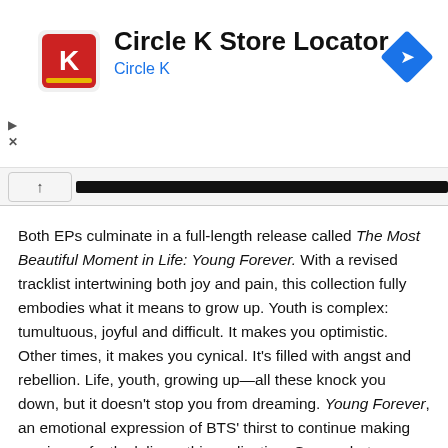[Figure (other): Circle K Store Locator advertisement banner with Circle K logo, title 'Circle K Store Locator', subtitle 'Circle K', and a blue diamond navigation icon on the right. Play and close controls on the left.]
Both EPs culminate in a full-length release called The Most Beautiful Moment in Life: Young Forever. With a revised tracklist intertwining both joy and pain, this collection fully embodies what it means to grow up. Youth is complex: tumultuous, joyful and difficult. It makes you optimistic. Other times, it makes you cynical. It's filled with angst and rebellion. Life, youth, growing up—all these knock you down, but it doesn't stop you from dreaming. Young Forever, an emotional expression of BTS' thirst to continue making music, perfectly delivers this realization. Come what may, they'll still do whatever it takes to stand on a stage. And for the listener, it's that we have to face the music. Our youth will eventually become distant memories. Perhaps we hold onto it out of fear—but who's to say that it's the only part of your life that deserves to be called “most beautiful?”